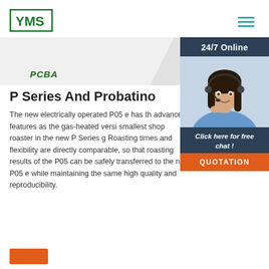YMS logo and navigation
[Figure (logo): YMS company logo in green with border, hamburger menu icon in teal on the right]
[Figure (illustration): PCB circuit board corner graphic in green/grey tones at top right, with PCBA label in dark green italic bold text]
[Figure (photo): Sidebar with 24/7 Online header in dark navy, photo of smiling woman with headset in blue shirt, Click here for free chat! text, and orange QUOTATION button]
P Series And Probatino
The new electrically operated P05 e has the advanced features as the gas-heated version, smallest shop roaster in the new P Series gu. Roasting times and flexibility are directly comparable, so that roasting results of the P05 can be safely transferred to the new P05 e while maintaining the same high quality and reproducibility.